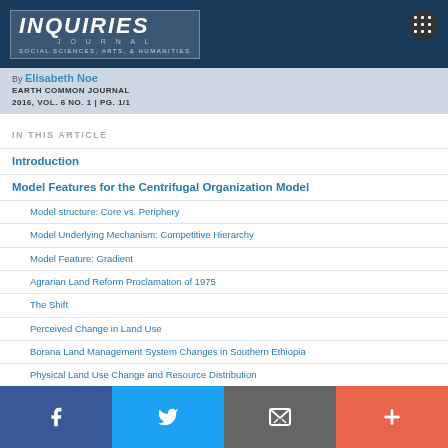INQUIRIES JOURNAL | SOCIAL SCIENCES, ARTS, & HUMANITIES
By Elisabeth Noe
EARTH COMMON JOURNAL
2016, VOL. 6 NO. 1 | PG. 1/1
IN THIS ARTICLE
Introduction
Model Features for the Centrifugal Organization Model
Model structure: Core vs. Periphery
Model Underlying Mechanism: Competitive Hierarchy
Model Feature: Gradient
Agrarian Land Reform Proclamation of 1975
The Shift
Perceived Change in Land Use
Borana Land Management System Changes in Southern Ethiopia
Physical Land Use Change and Resource Distribution
Conclusion
Author
Social share buttons: Facebook, Twitter, Email, Plus